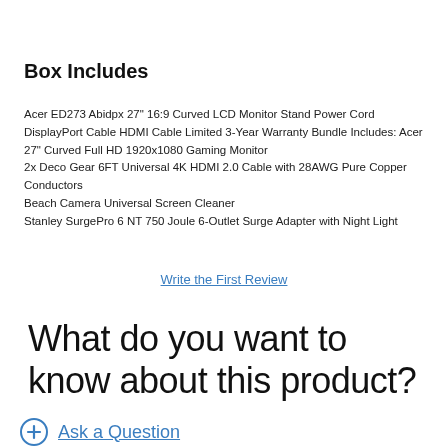Box Includes
Acer ED273 Abidpx 27" 16:9 Curved LCD Monitor Stand Power Cord DisplayPort Cable HDMI Cable Limited 3-Year Warranty Bundle Includes: Acer 27" Curved Full HD 1920x1080 Gaming Monitor
2x Deco Gear 6FT Universal 4K HDMI 2.0 Cable with 28AWG Pure Copper Conductors
Beach Camera Universal Screen Cleaner
Stanley SurgePro 6 NT 750 Joule 6-Outlet Surge Adapter with Night Light
Write the First Review
What do you want to know about this product?
Ask a Question